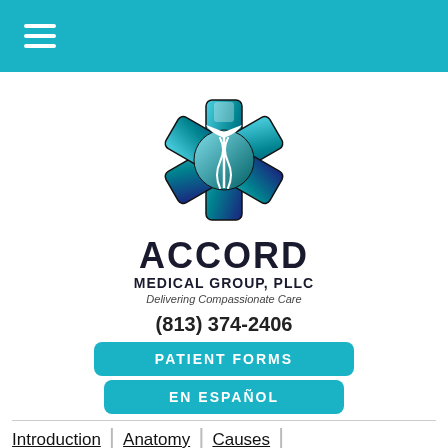Navigation menu header bar
[Figure (logo): Accord Medical Group PLLC logo — star of life symbol with caduceus, text ACCORD MEDICAL GROUP, PLLC, Delivering Compassionate Care]
(813) 374-2406
PATIENT FORMS
EN ESPAÑOL
Introduction
Anatomy
Causes
Symptoms
Diagnosis
Treatment
Prevention
Accident Risks
Complications